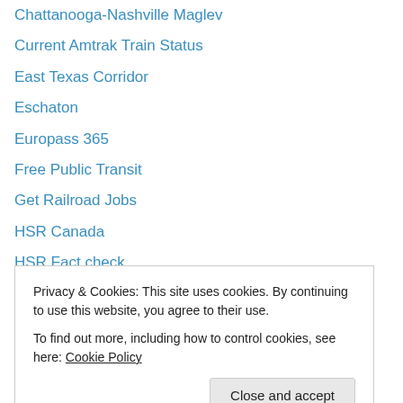Chattanooga-Nashville Maglev
Current Amtrak Train Status
East Texas Corridor
Eschaton
Europass 365
Free Public Transit
Get Railroad Jobs
HSR Canada
HSR Fact check
Los Angeles Transportation Headlines
Maglev Transport
Midwest High Speed Rail Association
Midwest HSR Blog
Privacy & Cookies: This site uses cookies. By continuing to use this website, you agree to their use.
To find out more, including how to control cookies, see here: Cookie Policy
Close and accept
Speed Cities Rail…